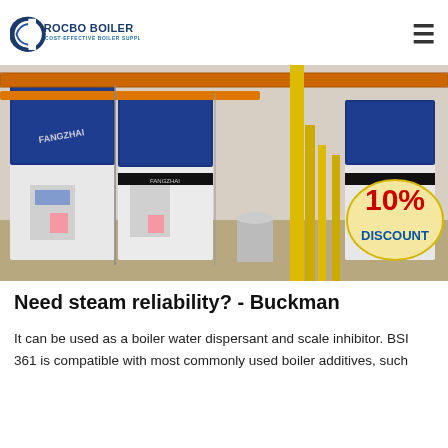ROCBO BOILER — COST-EFFECTIVE BOILER SUPPLIER
[Figure (photo): Industrial boiler room with multiple large blue and white gas boilers (FANGZHAI brand) connected by orange and yellow pipes. A '10% DISCOUNT' badge is displayed in the lower right corner of the image.]
Need steam reliability? - Buckman
It can be used as a boiler water dispersant and scale inhibitor. BSI 361 is compatible with most commonly used boiler additives, such